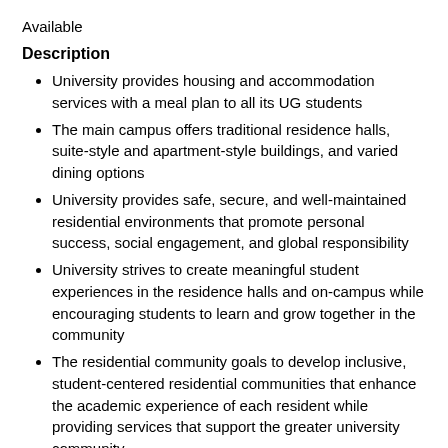Available
Description
University provides housing and accommodation services with a meal plan to all its UG students
The main campus offers traditional residence halls, suite-style and apartment-style buildings, and varied dining options
University provides safe, secure, and well-maintained residential environments that promote personal success, social engagement, and global responsibility
University strives to create meaningful student experiences in the residence halls and on-campus while encouraging students to learn and grow together in the community
The residential community goals to develop inclusive, student-centered residential communities that enhance the academic experience of each resident while providing services that support the greater university community
Link for on-campus housing